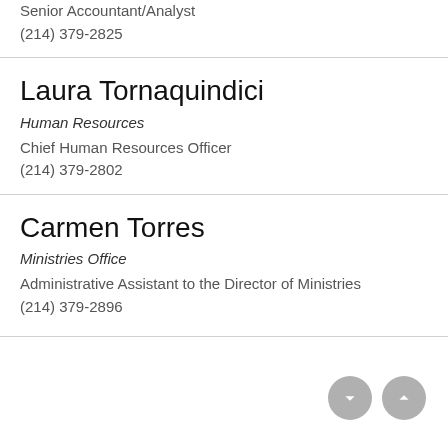Senior Accountant/Analyst
(214) 379-2825
Laura Tornaquindici
Human Resources
Chief Human Resources Officer
(214) 379-2802
Carmen Torres
Ministries Office
Administrative Assistant to the Director of Ministries
(214) 379-2896